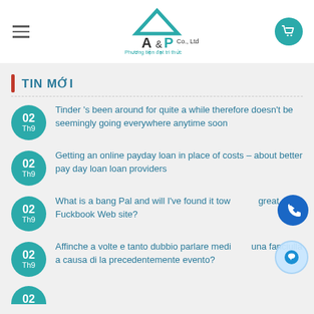A&P Co., Ltd. — Phương tiện đạt tri thức
TIN MỚI
Tinder 's been around for quite a while therefore doesn't be seemingly going everywhere anytime soon
Getting an online payday loan in place of costs – about better pay day loan loan providers
What is a bang Pal and will I've found it towards a great Fuckbook Web site?
Affinche a volte e tanto dubbio parlare mediante una fanciulla a causa di la precedentemente evento?